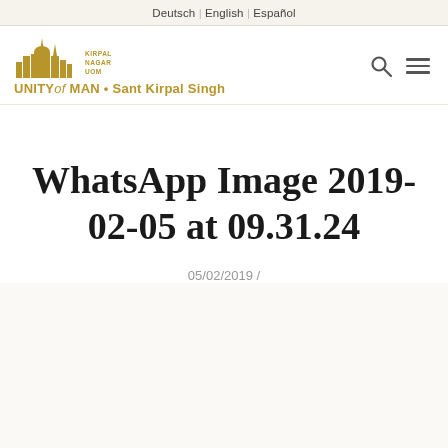Deutsch | English | Español
[Figure (logo): Unity of MAN · Sant Kirpal Singh logo with golden skyline/temple icon and text]
WhatsApp Image 2019-02-05 at 09.31.24
05/02/2019 /